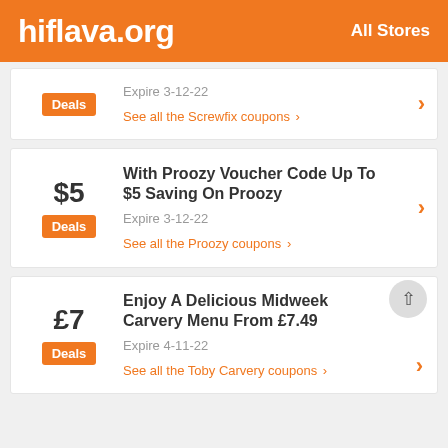hiflava.org   All Stores
Expire 3-12-22
See all the Screwfix coupons >
With Proozy Voucher Code Up To $5 Saving On Proozy
Expire 3-12-22
See all the Proozy coupons >
Enjoy A Delicious Midweek Carvery Menu From £7.49
Expire 4-11-22
See all the Toby Carvery coupons >